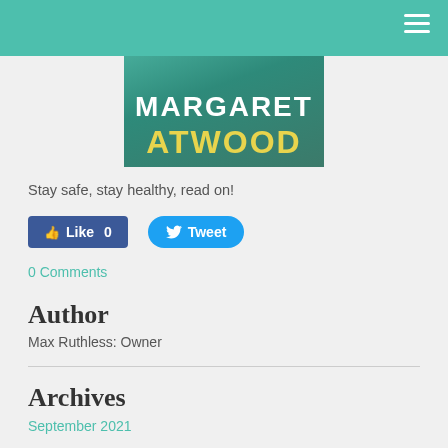[Figure (illustration): Book cover for Margaret Atwood with teal background and bold yellow/white lettering showing 'MARGARET ATWOOD']
Stay safe, stay healthy, read on!
Like 0   Tweet
0 Comments
Author
Max Ruthless: Owner
Archives
September 2021